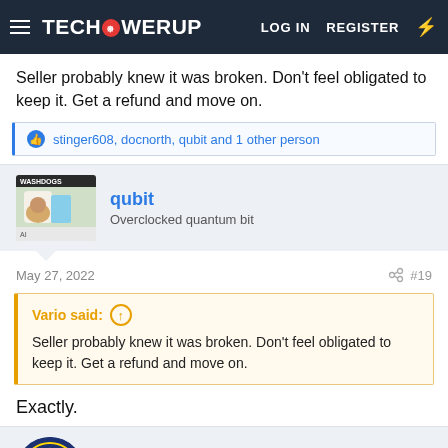TECHPOWERUP — LOG IN  REGISTER
Seller probably knew it was broken. Don't feel obligated to keep it. Get a refund and move on.
stinger608, docnorth, qubit and 1 other person
qubit
Overclocked quantum bit
May 27, 2022  #19
Vario said:
Seller probably knew it was broken. Don't feel obligated to keep it. Get a refund and move on.
Exactly.
eidairaman1
The Exiled Airman